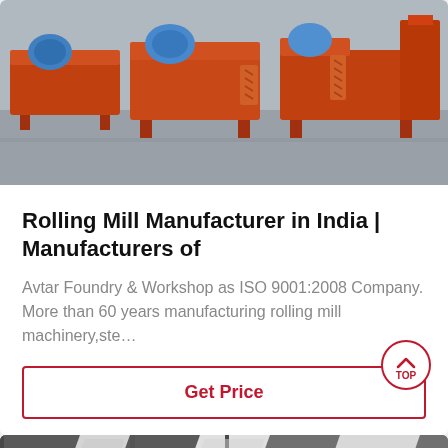[Figure (photo): Orange rolling mill machinery equipment lined up in a factory/warehouse setting]
Rolling Mill Manufacturer in India | Manufacturers of
Avtar Foundry & Workshop as ISO 9001:2008 Company. More than 60 years manufacturing rolling mill machinery,ste…
Get Price
[Figure (photo): Industrial flour mill or grain processing equipment with large white conical hoppers in a factory]